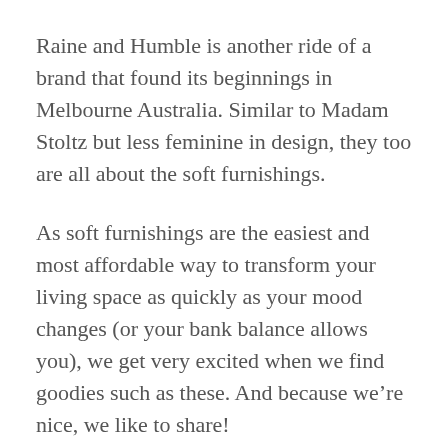Raine and Humble is another ride of a brand that found its beginnings in Melbourne Australia. Similar to Madam Stoltz but less feminine in design, they too are all about the soft furnishings.
As soft furnishings are the easiest and most affordable way to transform your living space as quickly as your mood changes (or your bank balance allows you), we get very excited when we find goodies such as these. And because we’re nice, we like to share!